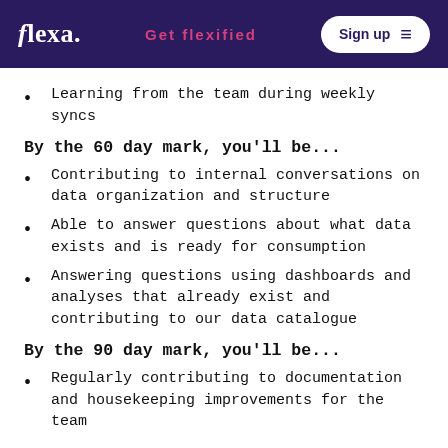flexa. | Get flexified | Sign up
Learning from the team during weekly syncs
By the 60 day mark, you'll be...
Contributing to internal conversations on data organization and structure
Able to answer questions about what data exists and is ready for consumption
Answering questions using dashboards and analyses that already exist and contributing to our data catalogue
By the 90 day mark, you'll be...
Regularly contributing to documentation and housekeeping improvements for the team